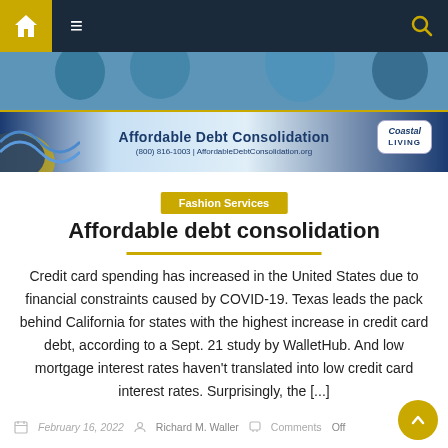[Figure (screenshot): Website navigation bar with home icon (gold background), hamburger menu, and search icon on dark navy background]
[Figure (photo): People photo behind banner, partially visible at top]
[Figure (infographic): Affordable Debt Consolidation banner ad with logo, phone number (800) 816-1003, website AffordableDebtConsolidation.org, and Coastal Living badge]
Fashion Services
Affordable debt consolidation
Credit card spending has increased in the United States due to financial constraints caused by COVID-19. Texas leads the pack behind California for states with the highest increase in credit card debt, according to a Sept. 21 study by WalletHub. And low mortgage interest rates haven't translated into low credit card interest rates. Surprisingly, the [...]
February 16, 2022   Richard M. Waller   Comments Off